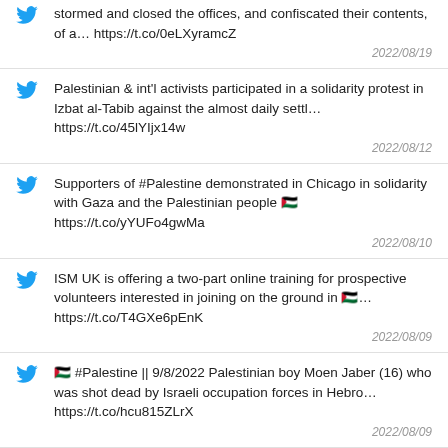stormed and closed the offices, and confiscated their contents, of a… https://t.co/0eLXyramcZ
2022/08/19
Palestinian & int'l activists participated in a solidarity protest in Izbat al-Tabib against the almost daily settl… https://t.co/45lYIjx14w
2022/08/12
Supporters of #Palestine demonstrated in Chicago in solidarity with Gaza and the Palestinian people 🇵🇸 https://t.co/yYUFo4gwMa
2022/08/10
ISM UK is offering a two-part online training for prospective volunteers interested in joining on the ground in 🇵🇸… https://t.co/T4GXe6pEnK
2022/08/09
🇵🇸 #Palestine || 9/8/2022 Palestinian boy Moen Jaber (16) who was shot dead by Israeli occupation forces in Hebro… https://t.co/hcu815ZLrX
2022/08/09